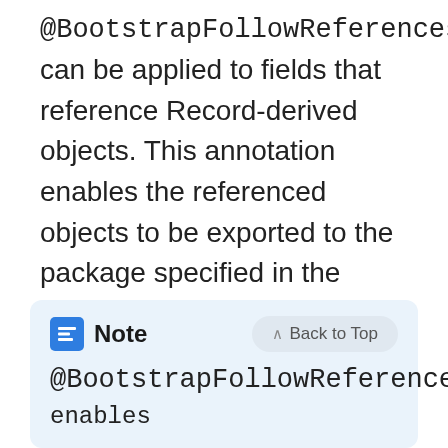@BootstrapFollowReferences can be applied to fields that reference Record-derived objects. This annotation enables the referenced objects to be exported to the package specified in the @BootstrapPackages annotation. The Database Bootstrap tool performs export and import operations between Brightspot environments with the same underlying data model.
Note  @BootstrapFollowReferences enables